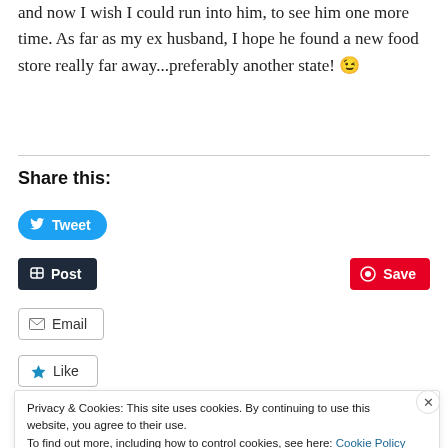and now I wish I could run into him, to see him one more time. As far as my ex husband, I hope he found a new food store really far away...preferably another state! 😉
Share this:
[Figure (other): Tweet button (blue rounded), Post button (dark navy), Save button (red/Pinterest), Email button (outlined), Like button (with star icon)]
Privacy & Cookies: This site uses cookies. By continuing to use this website, you agree to their use.
To find out more, including how to control cookies, see here: Cookie Policy
Close and accept